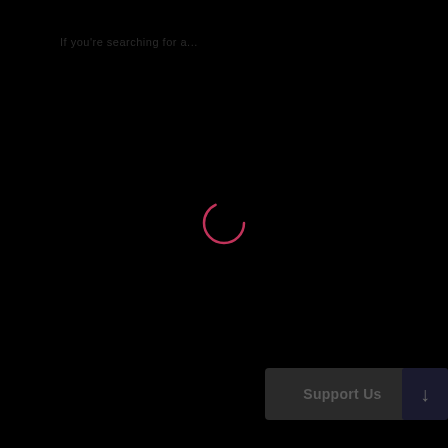If you're searching for a...
[Figure (other): Loading spinner animation — a pink/crimson arc (partial circle) centered on a dark background, suggesting a loading state.]
Support Us